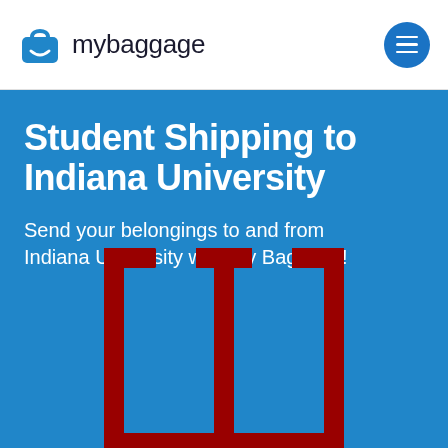[Figure (logo): My Baggage logo: blue shopping bag icon with white smile handle, followed by text 'mybaggage' in dark color]
[Figure (logo): Hamburger menu icon in a blue circle button in the top right corner]
Student Shipping to Indiana University
Send your belongings to and from Indiana University with My Baggage!
[Figure (logo): Indiana University IU trident logo in red/crimson on blue background, partially cropped at the bottom]